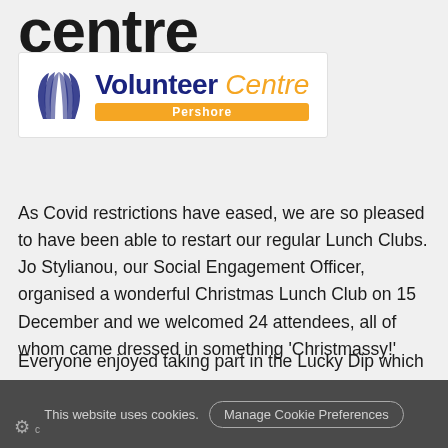centre
[Figure (logo): Volunteer Centre Pershore logo with stylized leaf/wing icon in dark navy, 'Volunteer' in bold navy, 'Centre' in italic orange, and 'Pershore' on an orange bar below]
As Covid restrictions have eased, we are so pleased to have been able to restart our regular Lunch Clubs.  Jo Stylianou, our Social Engagement Officer, organised a wonderful Christmas Lunch Club on 15 December and we welcomed 24 attendees, all of whom came dressed in something ‘Christmassy!’
Everyone enjoyed taking part in the Lucky Dip which was made possible by gifts kindly donated from members of the community.  To get us further into the festive mood,
This website uses cookies.  Manage Cookie Preferences